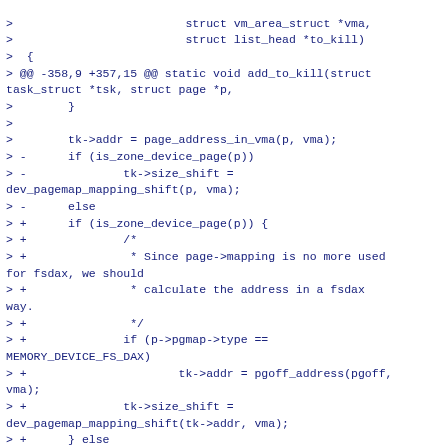>                         struct vm_area_struct *vma,
>                         struct list_head *to_kill)
>  {
> @@ -358,9 +357,15 @@ static void add_to_kill(struct task_struct *tsk, struct page *p,
>        }
>
>        tk->addr = page_address_in_vma(p, vma);
> -      if (is_zone_device_page(p))
> -              tk->size_shift =
dev_pagemap_mapping_shift(p, vma);
> -      else
> +      if (is_zone_device_page(p)) {
> +              /*
> +               * Since page->mapping is no more used for fsdax, we should
> +               * calculate the address in a fsdax way.
> +               */
> +              if (p->pgmap->type ==
MEMORY_DEVICE_FS_DAX)
> +                      tk->addr = pgoff_address(pgoff,
vma);
> +              tk->size_shift =
dev_pagemap_mapping_shift(tk->addr, vma);
> +      } else
>               tk->size_shift =
page_shift(compound_head(p));
>